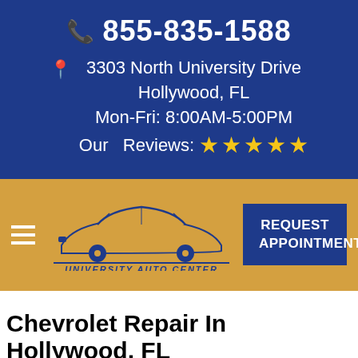855-835-1588
3303 North University Drive
Hollywood, FL
Mon-Fri: 8:00AM-5:00PM
Our Reviews: ★★★★★
[Figure (logo): University Auto Center logo with car silhouette and text]
REQUEST APPOINTMENT
Chevrolet Repair In Hollywood, FL